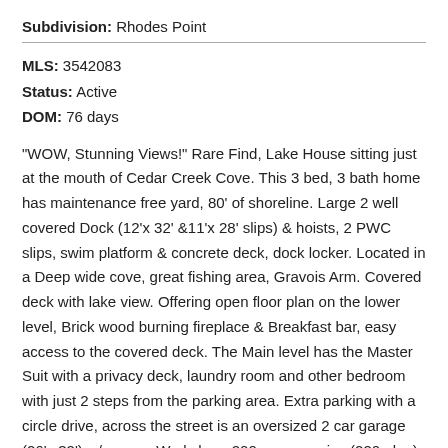Subdivision: Rhodes Point
MLS: 3542083
Status: Active
DOM: 76 days
"WOW, Stunning Views!" Rare Find, Lake House sitting just at the mouth of Cedar Creek Cove. This 3 bed, 3 bath home has maintenance free yard, 80' of shoreline. Large 2 well covered Dock (12'x 32' &11'x 28' slips) & hoists, 2 PWC slips, swim platform & concrete deck, dock locker. Located in a Deep wide cove, great fishing area, Gravois Arm. Covered deck with lake view. Offering open floor plan on the lower level, Brick wood burning fireplace & Breakfast bar, easy access to the covered deck. The Main level has the Master Suit with a privacy deck, laundry room and other bedroom with just 2 steps from the parking area. Extra parking with a circle drive, across the street is an oversized 2 car garage (26'x 32') w/opener, Workshop, 200 amp. service (220 plug), 2 hanging heaters. Some storage in the